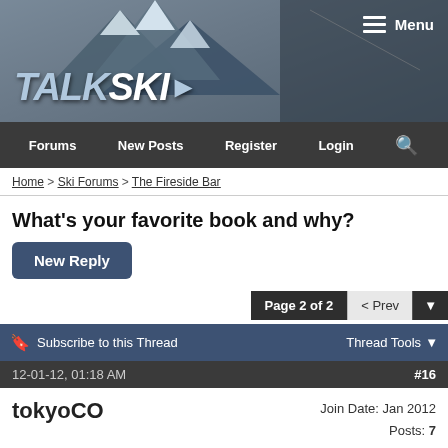[Figure (logo): TalkSki forum website header banner with mountain/ski resort background image and TalkSki logo in white italic text. Menu button in top right.]
Forums | New Posts | Register | Login | Search
Home > Ski Forums > The Fireside Bar
What's your favorite book and why?
New Reply
Page 2 of 2 < Prev
Subscribe to this Thread   Thread Tools
12-01-12, 01:18 AM  #16
tokyoCO   Join Date: Jan 2012  Posts: 7
I love anything Hemingway. The Sun Also Rises is my favorite